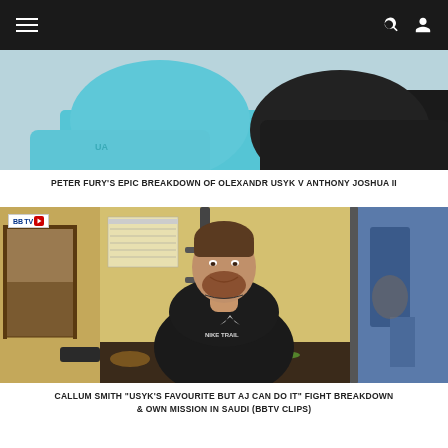Navigation header with hamburger menu, search and user icons
[Figure (photo): Cropped photo showing two men in sportswear, one in blue shirt and one in black shirt, seated or standing close together]
PETER FURY'S EPIC BREAKDOWN OF OLEXANDR USYK V ANTHONY JOSHUA II
[Figure (photo): Callum Smith smiling at camera in a boxing gym, wearing a black Nike Trail t-shirt, with gym equipment visible in background. BBTV logo overlay in top-left corner.]
CALLUM SMITH "USYK'S FAVOURITE BUT AJ CAN DO IT" FIGHT BREAKDOWN & OWN MISSION IN SAUDI (BBTV CLIPS)